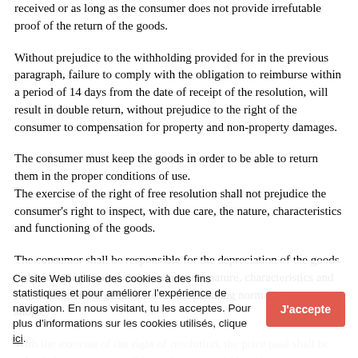received or as long as the consumer does not provide irrefutable proof of the return of the goods.
Without prejudice to the withholding provided for in the previous paragraph, failure to comply with the obligation to reimburse within a period of 14 days from the date of receipt of the resolution, will result in double return, without prejudice to the right of the consumer to compensation for property and non-property damages.
The consumer must keep the goods in order to be able to return them in the proper conditions of use.
The exercise of the right of free resolution shall not prejudice the consumer's right to inspect, with due care, the nature, characteristics and functioning of the goods.
The consumer shall be responsible for the depreciation of the goods if the handling carried out to inspect the nature, characteristics and functioning of the goods exceeds the handling normally accepted in shops.
With the exercise of the right of resolution, the price paid shall be refunded as soon as possible, and at most within a days corresponding to the dep... und.
Ce site Web utilise des cookies à des fins statistiques et pour améliorer l'expérience de navigation. En nous visitant, tu les acceptes. Pour plus d'informations sur les cookies utilisés, clique ici.